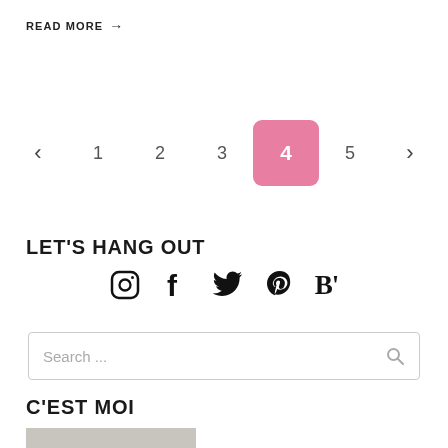READ MORE →
< 1 2 3 4 5 >
LET'S HANG OUT
[Figure (infographic): Social media icons: Instagram, Facebook, Twitter, Pinterest, Bloglovin]
Search ...
C'EST MOI
[Figure (photo): Photo of a woman with red/pink hair outdoors with trees in background]